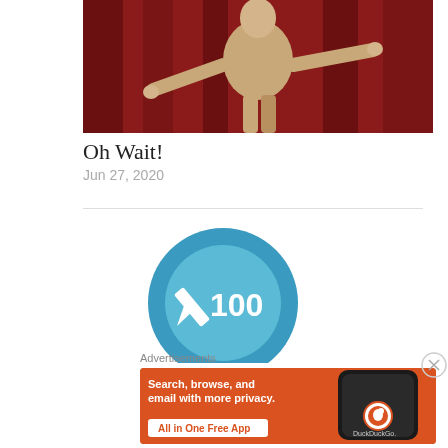[Figure (photo): Person in beige/tan outfit standing in front of red curtain, arms outstretched, appearing to perform on stage]
Oh Wait!
Jun 27, 2020
[Figure (logo): Blue circular badge/icon with pencil emoji and '100' text]
Advertisements
[Figure (infographic): DuckDuckGo advertisement banner: 'Search, browse, and email with more privacy. All in One Free App' with phone showing DuckDuckGo logo]